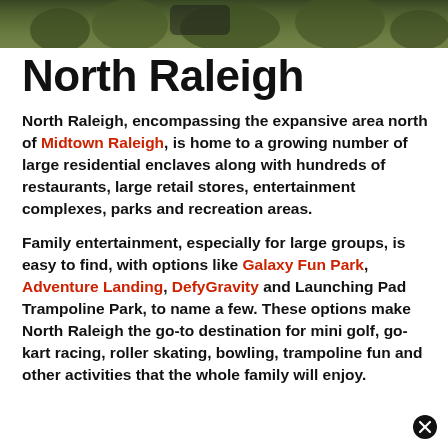[Figure (photo): Outdoor photo strip at top of page, showing greenery and trees in dark tones]
North Raleigh
North Raleigh, encompassing the expansive area north of Midtown Raleigh, is home to a growing number of large residential enclaves along with hundreds of restaurants, large retail stores, entertainment complexes, parks and recreation areas.
Family entertainment, especially for large groups, is easy to find, with options like Galaxy Fun Park, Adventure Landing, DefyGravity and Launching Pad Trampoline Park, to name a few. These options make North Raleigh the go-to destination for mini golf, go-kart racing, roller skating, bowling, trampoline fun and other activities that the whole family will enjoy.